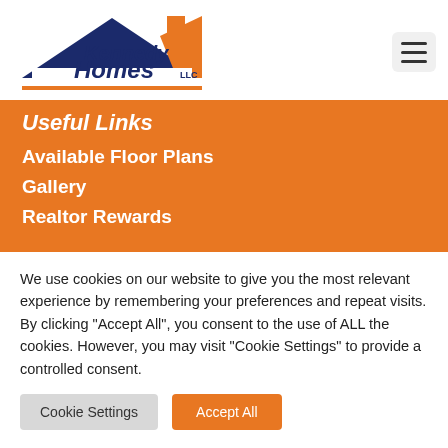[Figure (logo): Kennedy Homes LLC logo with house roofline graphic in navy and orange]
Useful Links
Available Floor Plans
Gallery
Realtor Rewards
We use cookies on our website to give you the most relevant experience by remembering your preferences and repeat visits. By clicking "Accept All", you consent to the use of ALL the cookies. However, you may visit "Cookie Settings" to provide a controlled consent.
Cookie Settings
Accept All